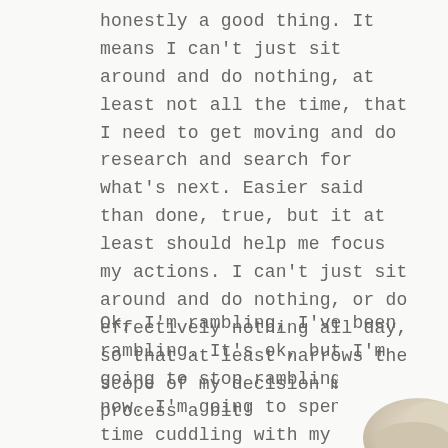honestly a good thing. It means I can't just sit around and do nothing, at least not all the time, that I need to get moving and do research and search for what's next. Easier said than done, true, but it at least should help me focus my actions. I can't just sit around and do nothing, or do effectively nothing all day, so that at least narrows the scope of my decision making process a bit!
Ok, I'm rambling, I've been rambling. It's ok, but I'm going to stop rambling for now. I'm going to spend some time cuddling with my kitties. I really missed them a lot while I was gone.
[Figure (photo): Partial view of a light-colored cat or animal in the bottom-right corner of the page.]